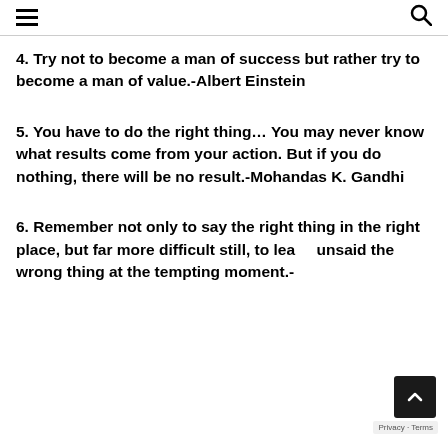≡  🔍
4. Try not to become a man of success but rather try to become a man of value.-Albert Einstein
5. You have to do the right thing… You may never know what results come from your action. But if you do nothing, there will be no result.-Mohandas K. Gandhi
6. Remember not only to say the right thing in the right place, but far more difficult still, to leave unsaid the wrong thing at the tempting moment.-